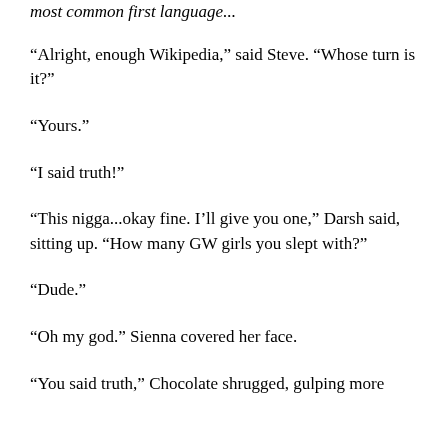most common first language...
“Alright, enough Wikipedia,” said Steve. “Whose turn is it?”
“Yours.”
“I said truth!”
“This nigga...okay fine. I’ll give you one,” Darsh said, sitting up. “How many GW girls you slept with?”
“Dude.”
“Oh my god.” Sienna covered her face.
“You said truth,” Chocolate shrugged, gulping more